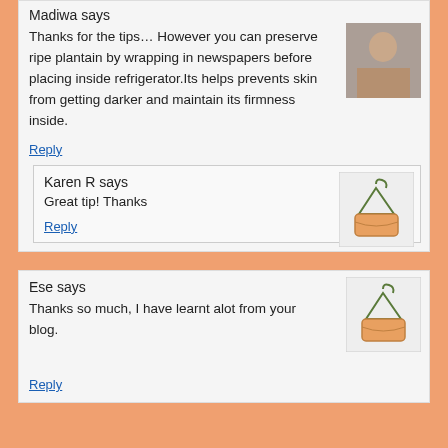Madiwa says
Thanks for the tips… However you can preserve ripe plantain by wrapping in newspapers before placing inside refrigerator.Its helps prevents skin from getting darker and maintain its firmness inside.
[Figure (photo): Profile photo of a person]
Reply
Karen R says
Great tip! Thanks
[Figure (illustration): Generic avatar icon with hanger and container shape]
Reply
Ese says
Thanks so much, I have learnt alot from your blog.
[Figure (illustration): Generic avatar icon with hanger and container shape]
Reply